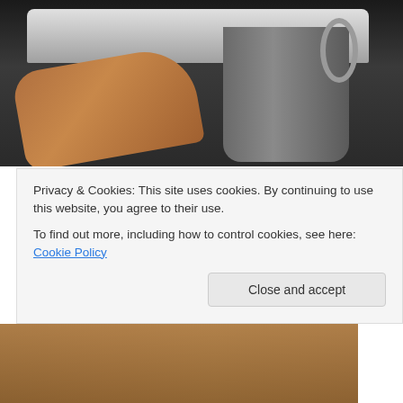[Figure (photo): A person's arm holding a tray over a metal trash can or bucket, in a dark background setting.]
But what I never really considered, until the geniuses behind Cake Wrecks called it to my attention, was that eventually someone at the baby shower will be expected to CUT such a cake, so people can eat it. And how
Privacy & Cookies: This site uses cookies. By continuing to use this website, you agree to their use.
To find out more, including how to control cookies, see here: Cookie Policy
Close and accept
[Figure (photo): Bottom portion of another photo, showing warm brown/orange tones, partially obscured by cookie banner.]